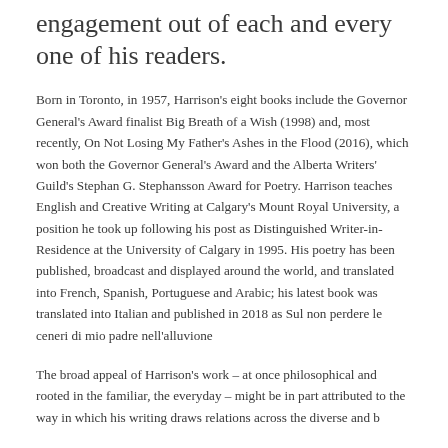engagement out of each and every one of his readers.
Born in Toronto, in 1957, Harrison's eight books include the Governor General's Award finalist Big Breath of a Wish (1998) and, most recently, On Not Losing My Father's Ashes in the Flood (2016), which won both the Governor General's Award and the Alberta Writers' Guild's Stephan G. Stephansson Award for Poetry. Harrison teaches English and Creative Writing at Calgary's Mount Royal University, a position he took up following his post as Distinguished Writer-in-Residence at the University of Calgary in 1995. His poetry has been published, broadcast and displayed around the world, and translated into French, Spanish, Portuguese and Arabic; his latest book was translated into Italian and published in 2018 as Sul non perdere le ceneri di mio padre nell'alluvione
The broad appeal of Harrison's work – at once philosophical and rooted in the familiar, the everyday – might be in part attributed to the way in which his writing draws relations across the diverse and b...